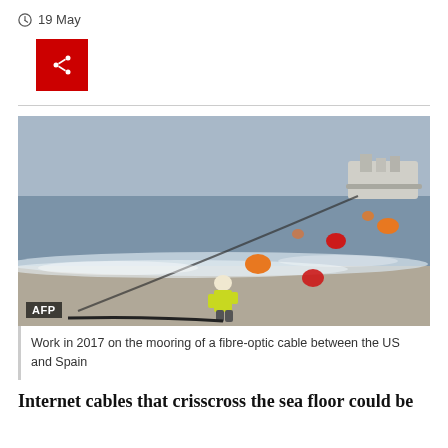19 May
[Figure (photo): A worker on a beach handling a fibre-optic cable with coloured buoys (red and orange) in the surf and a cable-laying ship visible in the background at sea. AFP photo credit.]
Work in 2017 on the mooring of a fibre-optic cable between the US and Spain
Internet cables that crisscross the sea floor could be